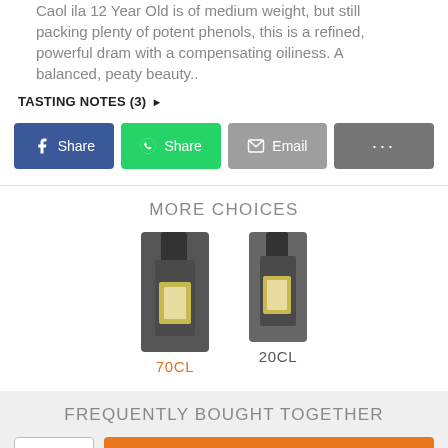Caol Ila 12 Year Old is of medium weight, but still packing plenty of potent phenols, this is a refined, powerful dram with a compensating oiliness. A balanced, peaty beauty..
TASTING NOTES (3) ▶
Share (Facebook), Share (WhatsApp), Email, ...
MORE CHOICES
[Figure (photo): Two whisky bottle product images labeled 70CL and 20CL]
FREQUENTLY BOUGHT TOGETHER
1 ˅  ADD TO BASKET